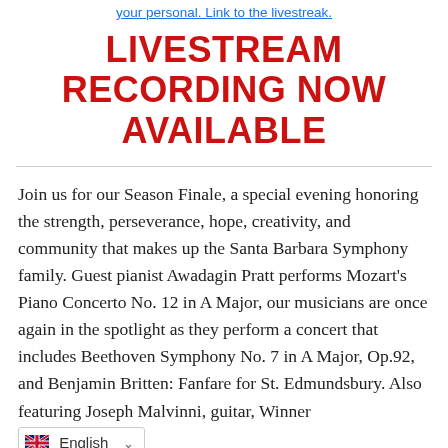your personal. Link to the livestreak
LIVESTREAM RECORDING NOW AVAILABLE
Join us for our Season Finale, a special evening honoring the strength, perseverance, hope, creativity, and community that makes up the Santa Barbara Symphony family. Guest pianist Awadagin Pratt performs Mozart's Piano Concerto No. 12 in A Major, our musicians are once again in the spotlight as they perform a concert that includes Beethoven Symphony No. 7 in A Major, Op.92, and Benjamin Britten: Fanfare for St. Edmundsbury. Also featuring Joseph Malvinni, guitar, Winner [English language selector]